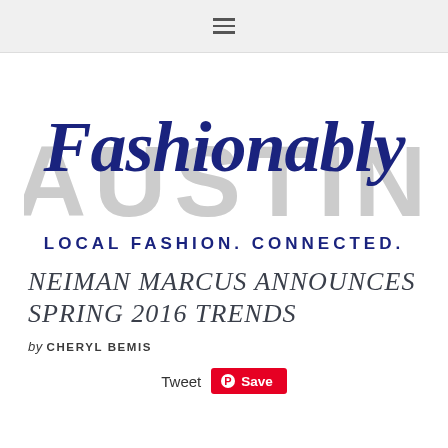≡ (navigation hamburger menu)
[Figure (logo): Fashionably Austin logo — 'Fashionably' in dark navy cursive script over large light gray 'AUSTIN' text, with tagline 'LOCAL FASHION. CONNECTED.' in spaced navy letters below]
NEIMAN MARCUS ANNOUNCES SPRING 2016 TRENDS
by CHERYL BEMIS
Tweet  Save